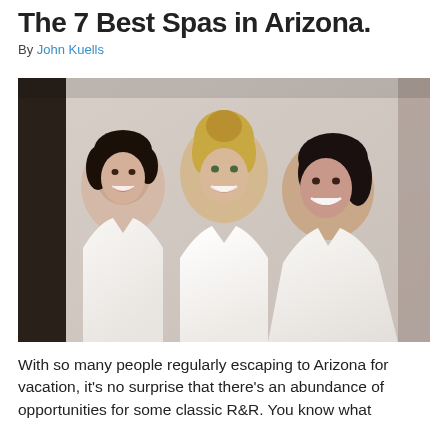The 7 Best Spas in Arizona.
By John Kuells
[Figure (photo): Three smiling women wearing white spa robes posing together indoors]
With so many people regularly escaping to Arizona for vacation, it's no surprise that there's an abundance of opportunities for some classic R&R. You know what